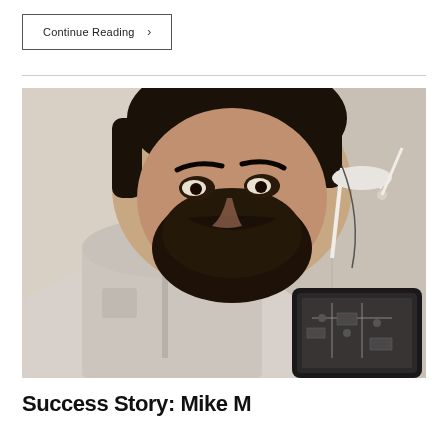Continue Reading ›
[Figure (photo): A man with a dark beard wearing a light grey/white short-sleeve shirt, taking a selfie. He is holding a tablet device showing a circuit diagram or schematic. A white desk lamp is visible in the background. The setting appears to be a bedroom or home office.]
Success Story: Mike M